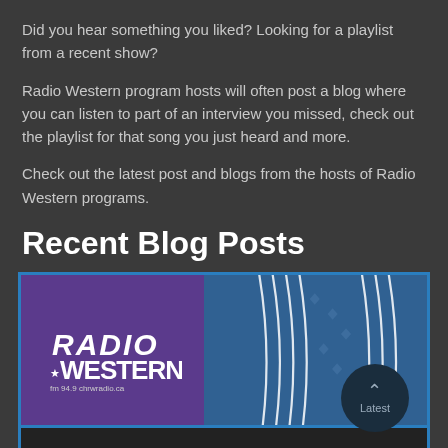Did you hear something you liked? Looking for a playlist from a recent show?
Radio Western program hosts will often post a blog where you can listen to part of an interview you missed, check out the playlist for that song you just heard and more.
Check out the latest post and blogs from the hosts of Radio Western programs.
Recent Blog Posts
[Figure (photo): Radio Western banner image showing the Radio Western logo (fm 94.9 chrwradio.ca) on a purple background with blue vinyl record wave pattern on the right side, and a 'Latest' badge button in the lower right corner.]